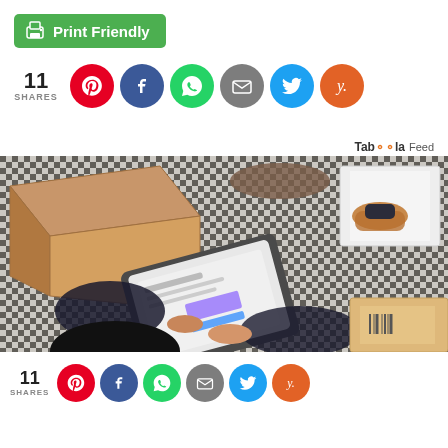[Figure (screenshot): Green Print Friendly button with printer icon]
[Figure (infographic): Social share bar with 11 SHARES count and social media icons: Pinterest (red), Facebook (blue), WhatsApp (green), Email (grey), Twitter (blue), Yummly (orange)]
Taboola Feed
[Figure (photo): Overhead view of a person using a laptop surrounded by cardboard boxes and shoe boxes with shoes, on a patterned black and white rug]
[Figure (infographic): Social share bar with 11 SHARES count and social media icons: Pinterest (red), Facebook (blue), WhatsApp (green), Email (grey), Twitter (blue), Yummly (orange)]